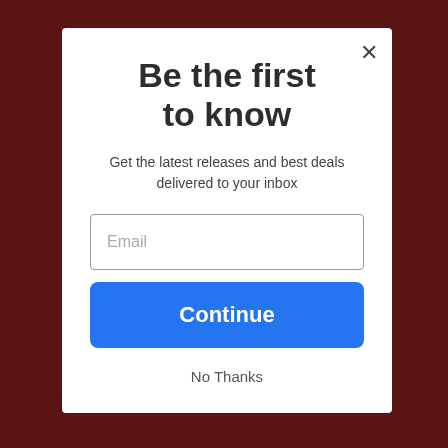[Figure (screenshot): Dark reddish-brown background with muted overlay, representing a website background behind a modal dialog.]
Be the first to know
Get the latest releases and best deals delivered to your inbox
Email
Continue
No Thanks